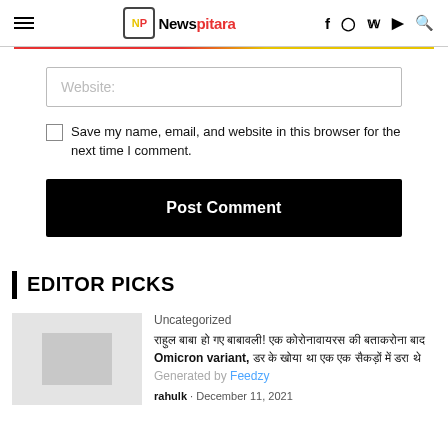NP Newspitara — navigation header with social icons
Website:
Save my name, email, and website in this browser for the next time I comment.
Post Comment
EDITOR PICKS
Uncategorized
राहुल बाबा हो गए बाबावली! एक कोरोनावायरस की बताकरोना बाद Omicron variant, डर के खोया था एक एक सैकड़ों में डरा थे लोगोका
rahulk · December 11, 2021